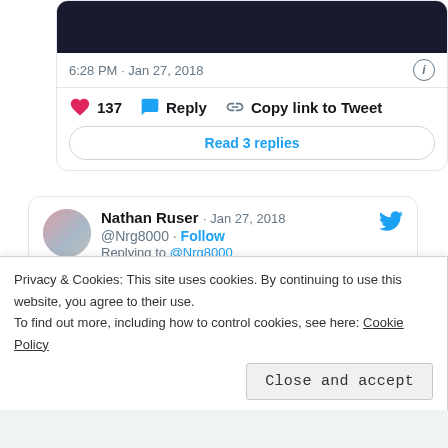[Figure (screenshot): Top portion of a Twitter/X tweet card showing a dark satellite map image partially cropped, timestamp '6:28 PM · Jan 27, 2018', action buttons (heart 137, Reply, Copy link to Tweet), and a 'Read 3 replies' button.]
6:28 PM · Jan 27, 2018
137  Reply  Copy link to Tweet
Read 3 replies
[Figure (screenshot): Twitter/X tweet card from Nathan Ruser (@Nrg8000) dated Jan 27, 2018, replying to @Nrg8000: 'You can see the Russian operating area in Khmeimim, but also the guard patrol to the NE.']
Nathan Ruser · Jan 27, 2018
@Nrg8000 · Follow
Replying to @Nrg8000
You can see the Russian operating area in Khmeimim, but also the guard patrol to the NE.
Privacy & Cookies: This site uses cookies. By continuing to use this website, you agree to their use.
To find out more, including how to control cookies, see here: Cookie Policy
Close and accept